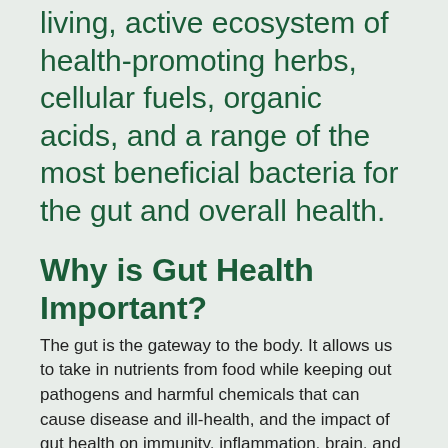living, active ecosystem of health-promoting herbs, cellular fuels, organic acids, and a range of the most beneficial bacteria for the gut and overall health.
Why is Gut Health Important?
The gut is the gateway to the body. It allows us to take in nutrients from food while keeping out pathogens and harmful chemicals that can cause disease and ill-health, and the impact of gut health on immunity, inflammation, brain, and overall health is now becoming very well known.
The balance of 'good' and 'bad'